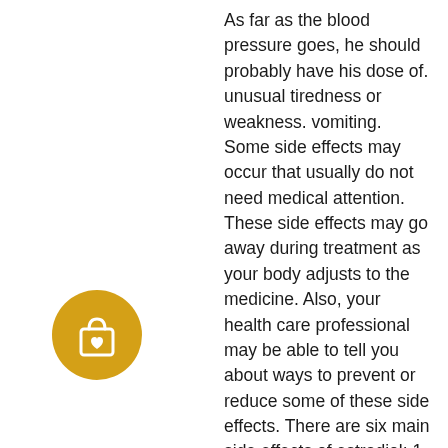As far as the blood pressure goes, he should probably have his dose of. unusual tiredness or weakness. vomiting. Some side effects may occur that usually do not need medical attention. These side effects may go away during treatment as your body adjusts to the medicine. Also, your health care professional may be able to tell you about ways to prevent or reduce some of these side effects. There are six main side effects of estradiol: 1. Dark Spots. T oo much estradiol can cause dark spots on your face called melasma. Estrogen stimulates melanin production which gives color to your skin. Melasma is a common side effect of birth control pills. And can occur in pregnancy because of the naturally high estrogen levels. The University of Maryland Medical Center reports that more than 1 in 10 AIDS patients who take indinavir develop kidney stones. The risk...
[Figure (illustration): Golden/amber circle icon with a shopping bag and heart symbol inside]